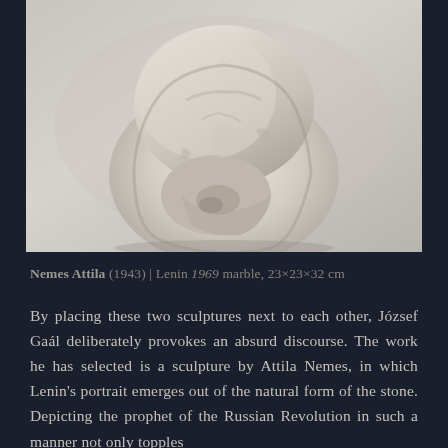[Figure (photo): Close-up photograph of a marble sculpture showing a rough-hewn head with facial features barely emerging from the natural stone form, against a light grey background.]
Nemes Attila (1943) | Lenin 1969 marble, 23×23×32 cm
By placing these two sculptures next to each other, József Gaál deliberately provokes an absurd discourse. The work he has selected is a sculpture by Attila Nemes, in which Lenin's portrait emerges out of the natural form of the stone. Depicting the prophet of the Russian Revolution in such a manner not only topples